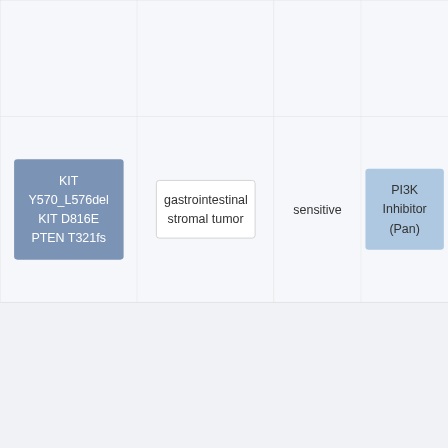|  |  |  |  |
| KIT Y570_L576del
KIT D816E
PTEN T321fs | gastrointestinal stromal tumor | sensitive | PI3K Inhibitor (Pan) |